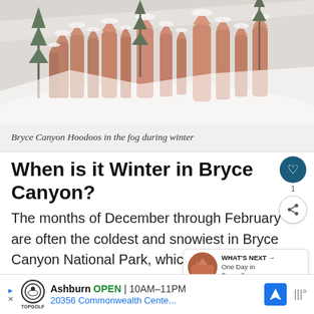[Figure (photo): Aerial view of Bryce Canyon Hoodoos (tall orange-red rock spires) covered in snow during winter, with pine trees and foggy/snowy landscape]
Bryce Canyon Hoodoos in the fog during winter
When is it Winter in Bryce Canyon?
The months of December through February are often the coldest and snowiest in Bryce Canyon National Park, which doesn't really come as a surprise.